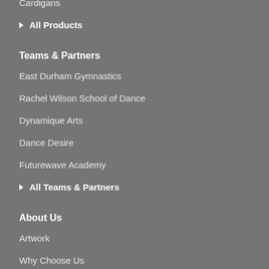Cardigans
▶ All Products
Teams & Partners
East Durham Gymnastics
Rachel Wilson School of Dance
Dynamique Arts
Dance Desire
Futurewave Academy
▶ All Teams & Partners
About Us
Artwork
Why Choose Us